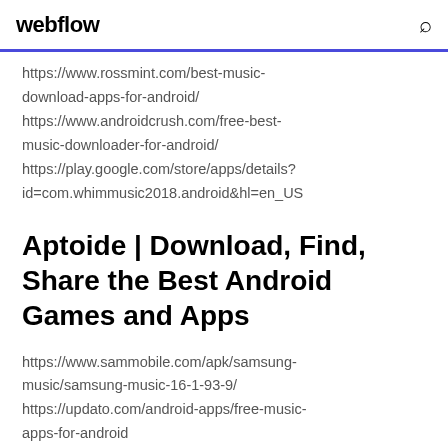webflow
https://www.rossmint.com/best-music-download-apps-for-android/
https://www.androidcrush.com/free-best-music-downloader-for-android/
https://play.google.com/store/apps/details?id=com.whimmusic2018.android&hl=en_US
Aptoide | Download, Find, Share the Best Android Games and Apps
https://www.sammobile.com/apk/samsung-music/samsung-music-16-1-93-9/
https://updato.com/android-apps/free-music-apps-for-android